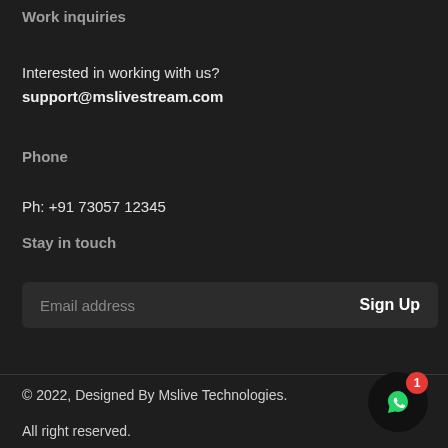Work inquiries
Interested in working with us?
support@mslivestream.com
Phone
Ph: +91 73057 12345
Stay in touch
Email address
Sign Up
© 2022, Designed By Mslive Technologies.

All right reserved.